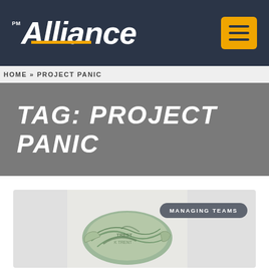PM Alliance
HOME » PROJECT PANIC
TAG: PROJECT PANIC
[Figure (photo): Crumpled US dollar bills on a light background with a 'MANAGING TEAMS' badge overlay]